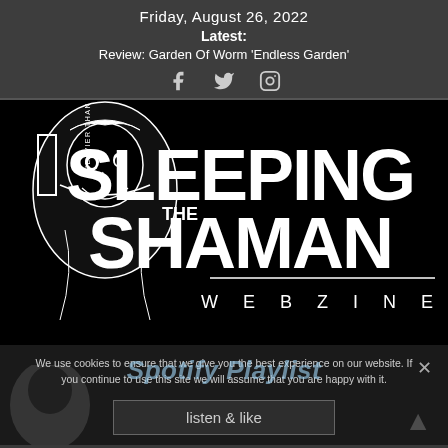Friday, August 26, 2022
Latest:
Review: Garden Of Worm 'Endless Garden'
[Figure (logo): Social media icons: Facebook, Twitter, Instagram]
[Figure (logo): The Sleeping Shaman Webzine logo — black background with illustrated shaman figure and large white text 'THE SLEEPING SHAMAN WEBZINE' with tagline 'Heavier Than Thou']
Spotify Playlist
We use cookies to ensure that we give you the best experience on our website. If you continue to use this site we will assume that you are happy with it.
listen & like